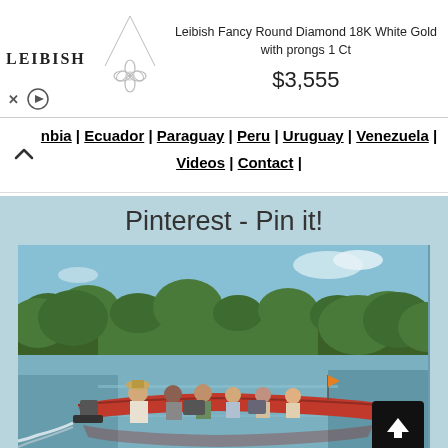[Figure (screenshot): Advertisement banner for Leibish jewelry showing a diamond necklace pendant, the LEIBISH logo, product name 'Leibish Fancy Round Diamond 18K White Gold with prongs 1 Ct', price $3,555, with close and play controls.]
nbia | Ecuador | Paraguay | Peru | Uruguay | Venezuela | Videos | Contact |
Pinterest - Pin it!
[Figure (photo): Photograph of people riding in a long red motorized canoe on a calm river surrounded by green trees and blue sky. The photo appears to show an eco-tourism or wildlife tour in South America.]